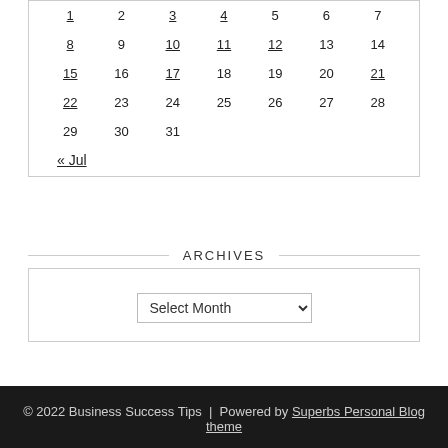| Sun | Mon | Tue | Wed | Thu | Fri | Sat |
| --- | --- | --- | --- | --- | --- | --- |
| 1 | 2 | 3 | 4 | 5 | 6 | 7 |
| 8 | 9 | 10 | 11 | 12 | 13 | 14 |
| 15 | 16 | 17 | 18 | 19 | 20 | 21 |
| 22 | 23 | 24 | 25 | 26 | 27 | 28 |
| 29 | 30 | 31 |  |  |  |  |
« Jul
ARCHIVES
Select Month
© 2022 Business Success Tips | Powered by Superbs Personal Blog theme